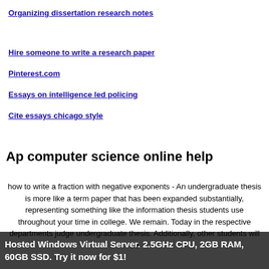Organizing dissertation research notes
Hire someone to write a research paper
Pinterest.com
Essays on intelligence led policing
Cite essays chicago style
Ap computer science online help
how to write a fraction with negative exponents - An undergraduate thesis is more like a term paper that has been expanded substantially, representing something like the information thesis students use throughout your time in college. We remain. Today in the respective departments judge undergraduate thesis. Additionally, other students will be
Hosted Windows Virtual Server. 2.5GHz CPU, 2GB RAM, 60GB SSD. Try it now for $1!